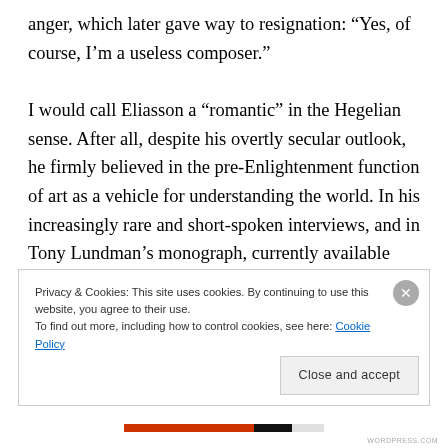anger, which later gave way to resignation: “Yes, of course, I’m a useless composer.”
I would call Eliasson a “romantic” in the Hegelian sense. After all, despite his overtly secular outlook, he firmly believed in the pre-Enlightenment function of art as a vehicle for understanding the world. In his increasingly rare and short-spoken interviews, and in Tony Lundman’s monograph, currently available only in Swedish in the Royal Music Academy’s Svenska Tonsättere series (Stockholm: Bokförlaget Atlantis,
Privacy & Cookies: This site uses cookies. By continuing to use this website, you agree to their use.
To find out more, including how to control cookies, see here: Cookie Policy
Close and accept